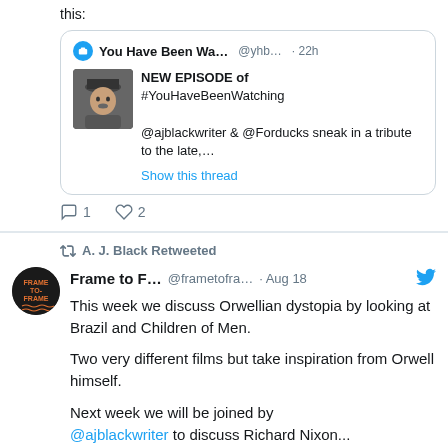this:
[Figure (screenshot): Quoted tweet card from 'You Have Been Wa...' @yhb... · 22h with thumbnail image of a person and text: NEW EPISODE of #YouHaveBeenWatching @ajblackwriter & @Forducks sneak in a tribute to the late,... Show this thread]
1 (reply count) 2 (like count)
A. J. Black Retweeted
Frame to F... @frametofra... · Aug 18
This week we discuss Orwellian dystopia by looking at Brazil and Children of Men.

Two very different films but take inspiration from Orwell himself.

Next week we will be joined by @ajblackwriter to discuss Richard Nixon...